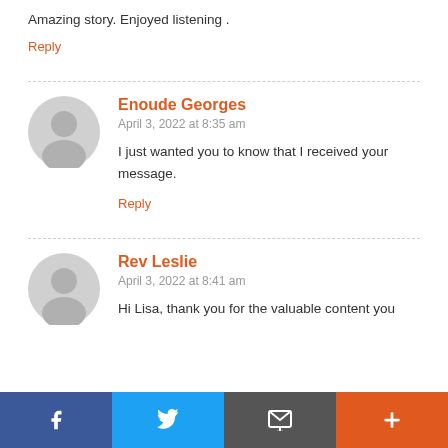Amazing story. Enjoyed listening .
Reply
Enoude Georges
April 3, 2022 at 8:35 am
I just wanted you to know that I received your message.
Reply
Rev Leslie
April 3, 2022 at 8:41 am
Hi Lisa, thank you for the valuable content you